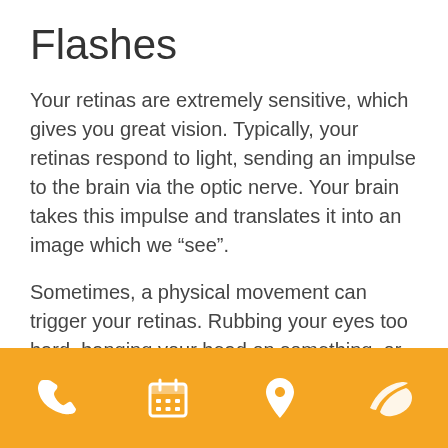Flashes
Your retinas are extremely sensitive, which gives you great vision. Typically, your retinas respond to light, sending an impulse to the brain via the optic nerve. Your brain takes this impulse and translates it into an image which we “see”.
Sometimes, a physical movement can trigger your retinas. Rubbing your eyes too hard, banging your head on something, or even a sudden increase in velocity. As we get older, the gel-like vitreous in our eyes shrinks, sometimes tugging on the retina, creating a flash of light.
[Figure (infographic): Golden/amber footer bar with four white icons: phone, calendar, map pin, and a leaf/eye logo]